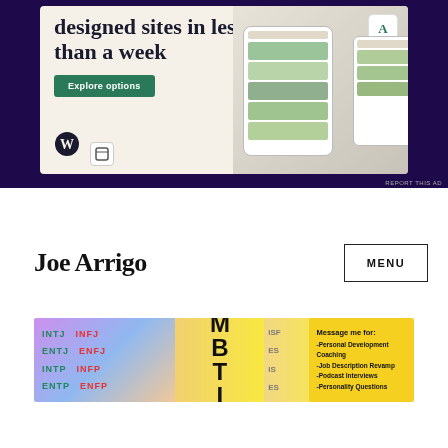[Figure (illustration): WordPress advertisement banner showing 'designed sites in less than a week' headline with Explore options button, WordPress logo, and food website mockup on device screens. Dark purple background with beige ad card.]
Joe Arrigo
MENU
[Figure (illustration): MBTI personality types banner showing INTJ INFJ ENTJ ENFJ INTP INFP ENTP ENFP in green and red, large MBTI text in black on yellow background, and text: Message me for: -Personal Development Coaching -Job Description Revamp -Podcast Interviews -Personality Questions]